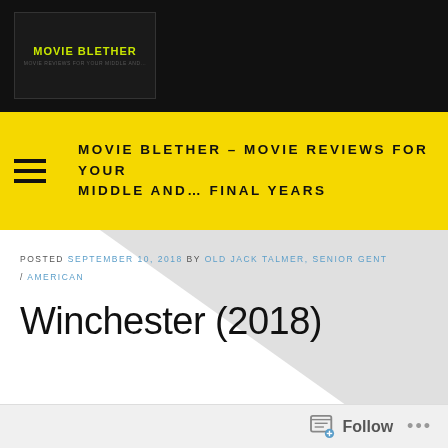MOVIE BLETHER
MOVIE BLETHER – MOVIE REVIEWS FOR YOUR MIDDLE AND… FINAL YEARS
POSTED SEPTEMBER 10, 2018 BY OLD JACK TALMER, SENIOR GENT / AMERICAN
Winchester (2018)
Follow